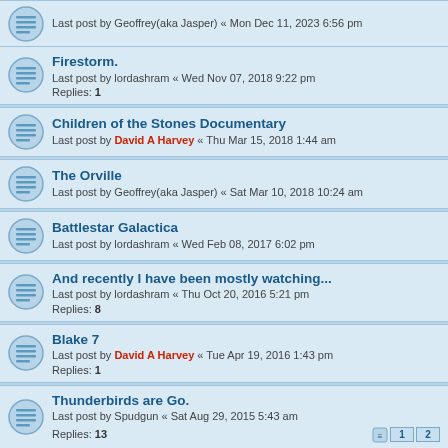Partial top row: Last post by Geoffrey(aka Jasper) « Mon Dec 11, 2023 6:56 pm
Firestorm. Last post by lordashram « Wed Nov 07, 2018 9:22 pm Replies: 1
Children of the Stones Documentary Last post by David A Harvey « Thu Mar 15, 2018 1:44 am
The Orville Last post by Geoffrey(aka Jasper) « Sat Mar 10, 2018 10:24 am
Battlestar Galactica Last post by lordashram « Wed Feb 08, 2017 6:02 pm
And recently I have been mostly watching... Last post by lordashram « Thu Oct 20, 2016 5:21 pm Replies: 8
Blake 7 Last post by David A Harvey « Tue Apr 19, 2016 1:43 pm Replies: 1
Thunderbirds are Go. Last post by Spudgun « Sat Aug 29, 2015 5:43 am Replies: 13
Gotham Last post by Geoffrey(aka Jasper) « Tue Oct 21, 2014 5:47 pm Replies: 5
Star Trek: Remastered. Last post by Spudgun « Sun Oct 12, 2014 9:52 am
New Clangers. (partial)